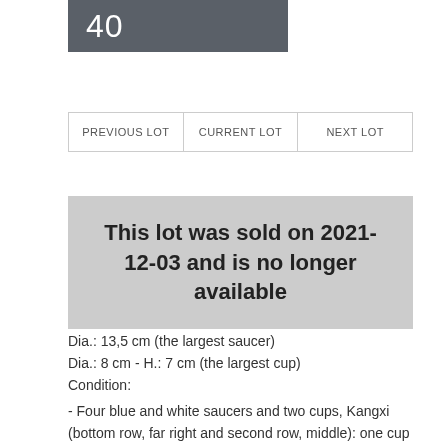40
PREVIOUS LOT   CURRENT LOT   NEXT LOT
This lot was sold on 2021-12-03 and is no longer available
Dia.: 13,5 cm (the largest saucer)
Dia.: 8 cm - H.: 7 cm (the largest cup)
Condition:
- Four blue and white saucers and two cups, Kangxi (bottom row, far right and second row, middle): one cup